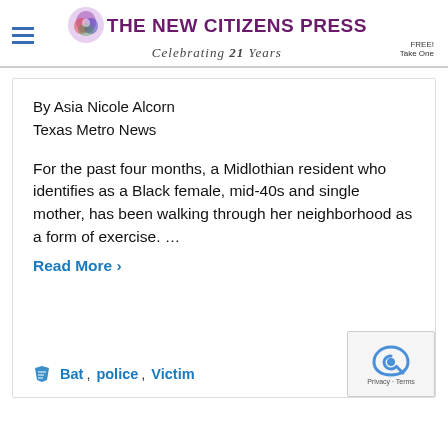THE NEW CITIZENS PRESS — Celebrating 21 Years
By Asia Nicole Alcorn
Texas Metro News
For the past four months, a Midlothian resident who identifies as a Black female, mid-40s and single mother, has been walking through her neighborhood as a form of exercise. …
Read More ›
Bat, police, Victim